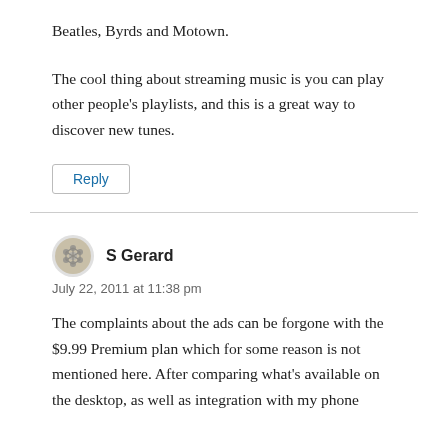Beatles, Byrds and Motown.
The cool thing about streaming music is you can play other people's playlists, and this is a great way to discover new tunes.
Reply
S Gerard
July 22, 2011 at 11:38 pm
The complaints about the ads can be forgone with the $9.99 Premium plan which for some reason is not mentioned here. After comparing what's available on the desktop, as well as integration with my phone